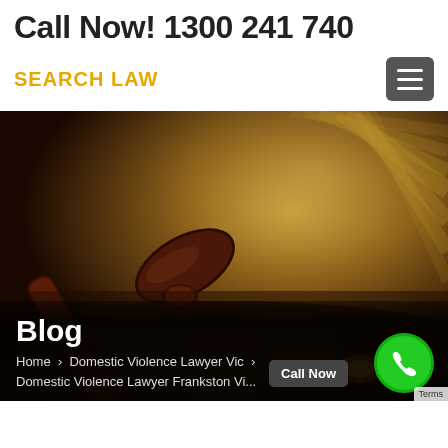Call Now! 1300 241 740
SEARCH LAW
[Figure (photo): Close-up photo of a wooden judge's gavel resting on its sound block, with an open book with fanned pages in the background, warm amber lighting]
Blog
Home > Domestic Violence Lawyer Vic > Domestic Violence Lawyer Frankston Vi...